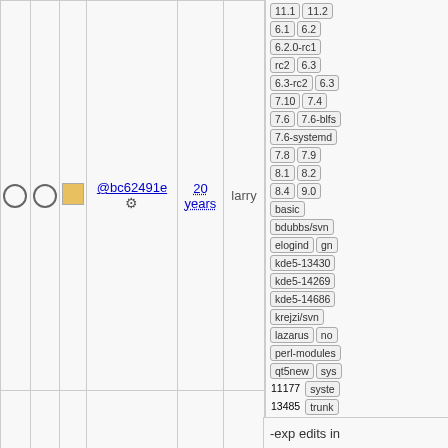|  |  |  | commit | age | author | description |
| --- | --- | --- | --- | --- | --- | --- |
| ○ | ○ | ■ | @bc62491e ⚙ | 20 years | larry |  |
11.1 11.2 6.1 6.2 6.2.0-rc1 rc2 6.3 6.3-rc2 6.3 7.10 7.4 7.6 7.6-blfs 7.6-systemd 7.8 7.9 8.1 8.2 8.4 9.0 basic bdubbs/svn elogind gn kde5-13430 kde5-14269 kde5-14686 krejzi/svn lazarus no perl-modules qt5new sys 11177 syste 13485 trunk upgradedb v5_0 v5_0 v5_1 v5_1 xry111/intltoo xry111/test- 20220226
-exp edits in